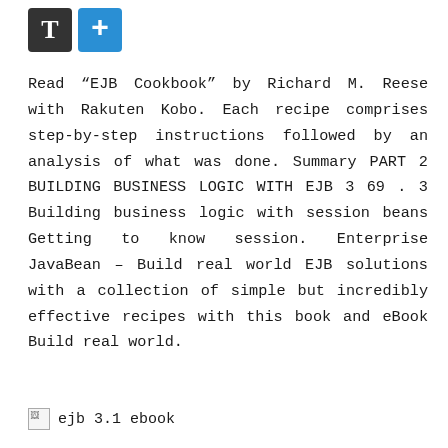[Figure (logo): Two icons: a dark square with letter T and a blue square with a plus sign]
Read “EJB Cookbook” by Richard M. Reese with Rakuten Kobo. Each recipe comprises step-by-step instructions followed by an analysis of what was done. Summary PART 2 BUILDING BUSINESS LOGIC WITH EJB 3 69 . 3 Building business logic with session beans Getting to know session. Enterprise JavaBean – Build real world EJB solutions with a collection of simple but incredibly effective recipes with this book and eBook Build real world.
[Figure (illustration): Broken image icon followed by text: ejb 3.1 ebook]